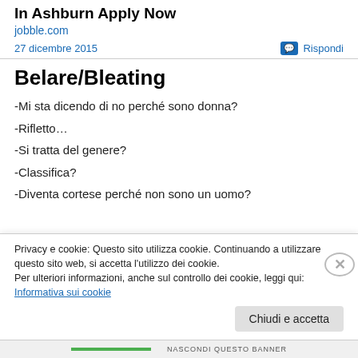In Ashburn Apply Now
jobble.com
27 dicembre 2015
Rispondi
Belare/Bleating
-Mi sta dicendo di no perché sono donna?
-Rifletto…
-Si tratta del genere?
-Classifica?
-Diventa cortese perché non sono un uomo?
Privacy e cookie: Questo sito utilizza cookie. Continuando a utilizzare questo sito web, si accetta l'utilizzo dei cookie.
Per ulteriori informazioni, anche sul controllo dei cookie, leggi qui:
Informativa sui cookie
Chiudi e accetta